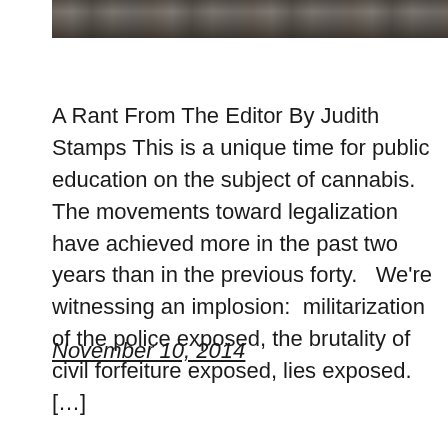[Figure (photo): A dark photograph strip showing a person, partially cropped, at the top of the page.]
A Rant From The Editor By Judith Stamps This is a unique time for public education on the subject of cannabis.  The movements toward legalization have achieved more in the past two years than in the previous forty.   We're witnessing an implosion:  militarization of the police exposed, the brutality of civil forfeiture exposed, lies exposed. […]
November 10, 2014